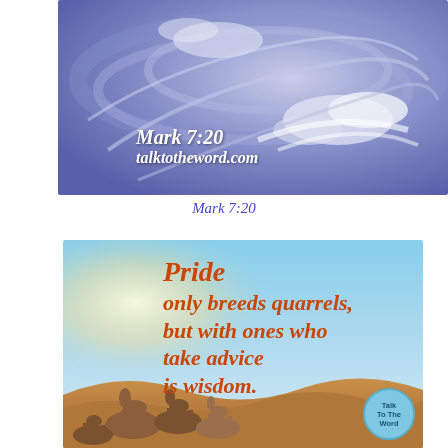[Figure (photo): Aerial/satellite view of a storm or hurricane with swirling blue-purple clouds and white cloud formations, with overlaid text 'Mark 7:20' and 'talktotheword.com' in white italic font]
Mark 7:20
[Figure (photo): Desert scene with camels standing on sand dunes under a blue sky, with large orange italic text overlay reading 'Pride only breeds quarrels, but with ones who take advice is wisdom.' and a circular blue badge reading 'Talk To The Word']